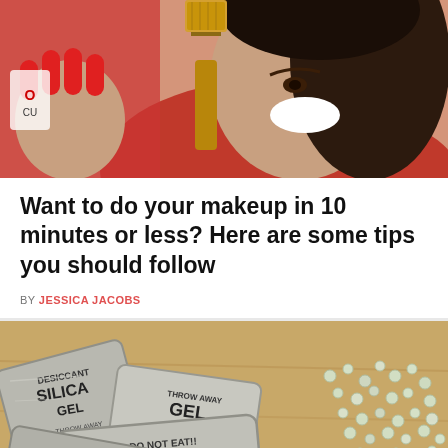[Figure (photo): Woman smiling holding a makeup brush with red nail polish, wearing red top]
Want to do your makeup in 10 minutes or less? Here are some tips you should follow
BY JESSICA JACOBS
[Figure (photo): Silica gel desiccant packets labeled 'SILICA GEL DO NOT EAT DESICCANT' scattered on a wooden surface with silica gel beads spilled out]
© Fierce League   About Ads   Terms   Privacy   Do Not Sell My Info